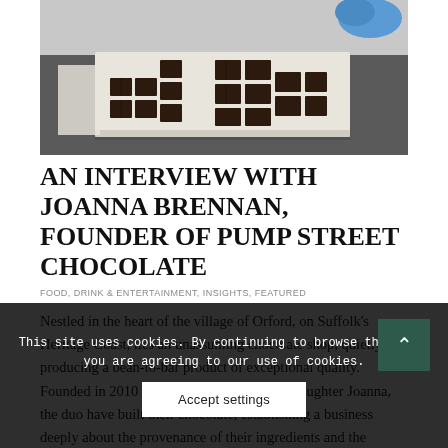[Figure (photo): Close-up photo of chocolate bars arranged on a white tray, with a person wearing blue gloves visible in the background.]
AN INTERVIEW WITH JOANNA BRENNAN, FOUNDER OF PUMP STREET CHOCOLATE
FOOD, DRINK & ENTERTAINMENT, INSIGHTS, FEATURED
Nestled in the heart of the village of Orford, on Suffolk's Heritage Coast, lies an unassuming chocolate shop, quietly producing a bean-to-bar product of exceptional quality. Founded in 2010 by Chris Brennan and his daughter Joanna, the duo have built their business, their chocolate, establishing a business deeply about the provenance of their ingredients and the intricacies of their
This site uses cookies. By continuing to browse the site, you are agreeing to our use of cookies.
Accept settings